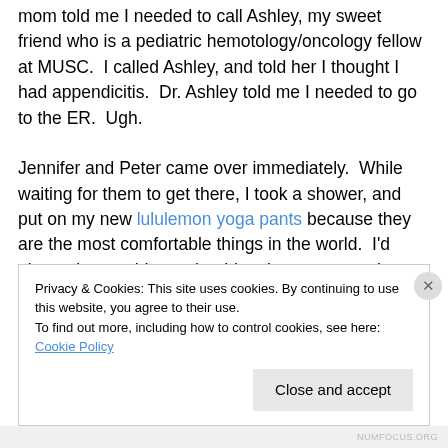mom told me I needed to call Ashley, my sweet friend who is a pediatric hemotology/oncology fellow at MUSC.  I called Ashley, and told her I thought I had appendicitis.  Dr. Ashley told me I needed to go to the ER.  Ugh.

Jennifer and Peter came over immediately.  While waiting for them to get there, I took a shower, and put on my new lululemon yoga pants because they are the most comfortable things in the world.  I'd always been told you should make sure you take a shower every day because you never know when you might end up in the emergency
Privacy & Cookies: This site uses cookies. By continuing to use this website, you agree to their use.
To find out more, including how to control cookies, see here: Cookie Policy